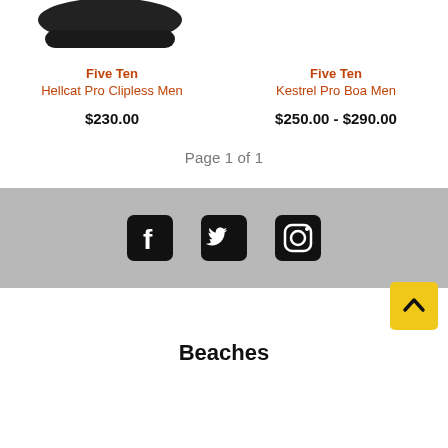[Figure (photo): Two product shoe images at top, partially cropped]
Five Ten
Hellcat Pro Clipless Men
$230.00
Five Ten
Kestrel Pro Boa Men
$250.00 - $290.00
Page 1 of 1
[Figure (other): Footer bar with Facebook, Twitter, and Instagram social media icons]
Beaches